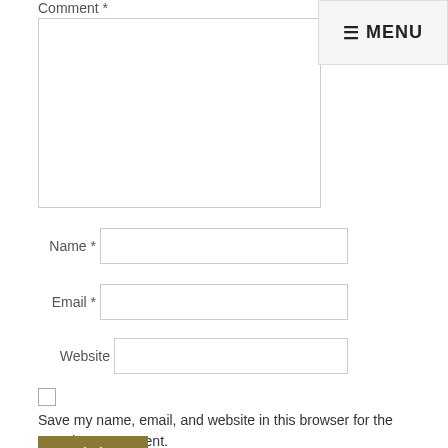Comment *
[Figure (screenshot): Comment text area input box, large resizable rectangle]
[Figure (screenshot): MENU button in top right corner with hamburger icon]
Name *
Email *
Website
[Figure (other): Unchecked checkbox]
Save my name, email, and website in this browser for the next time I comment.
[Figure (other): Submit button, dark olive/gold color with icons]